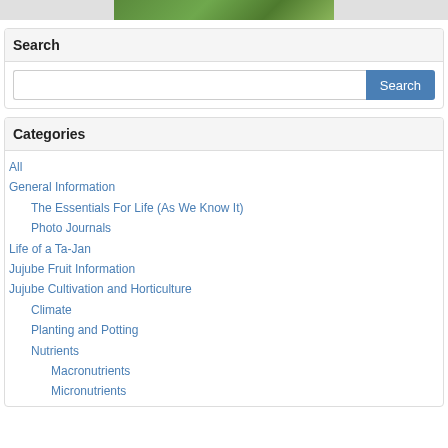[Figure (photo): Partial image strip at top showing green plant/foliage]
Search
Search input field with Search button
Categories
All
General Information
The Essentials For Life (As We Know It)
Photo Journals
Life of a Ta-Jan
Jujube Fruit Information
Jujube Cultivation and Horticulture
Climate
Planting and Potting
Nutrients
Macronutrients
Micronutrients